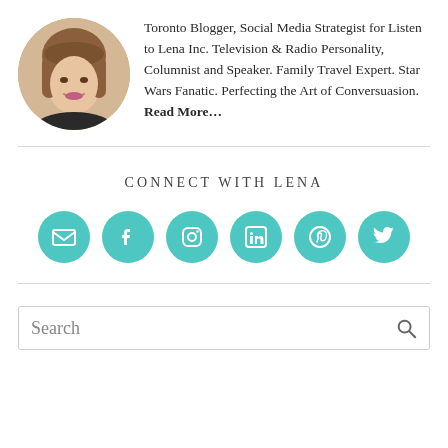[Figure (photo): Circular profile photo of a woman with brown hair and bangs, smiling]
Toronto Blogger, Social Media Strategist for Listen to Lena Inc. Television & Radio Personality, Columnist and Speaker. Family Travel Expert. Star Wars Fanatic. Perfecting the Art of Conversuasion. Read More…
CONNECT WITH LENA
[Figure (infographic): Six teal circular social media icons: email envelope, Facebook f, Instagram camera, LinkedIn in, Pinterest P, Twitter bird]
Search